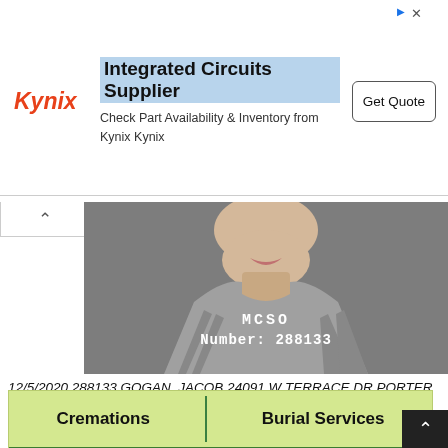[Figure (infographic): Kynix advertisement banner: logo in red italic 'Kynix', heading 'Integrated Circuits Supplier' highlighted in blue, subtext 'Check Part Availability & Inventory from Kynix Kynix', and a 'Get Quote' button on the right.]
[Figure (photo): Mugshot photo of a young white male wearing a gray and white striped inmate uniform. Gray background. White text overlay reads 'MCSO' and 'Number: 288133'.]
12/5/2020 288133 GOGAN, JACOB 24091 W TERRACE DR PORTER TX 77365 MCSO 37073 DIAMOND T 19-08-11774 D435 MOTION/ADJUDICATE GUILT FELONY 30000
[Figure (infographic): Advertisement for funeral services. Light green background. Bold text: 'Cremations' on left, vertical green divider, 'Burial Services' on right. Dark green bar below with text: 'FAMILY OWNED AND OPERATED - SERVING ALL OF MONTGOMERY COUNTY AND SURROUNDING A...' followed by 'Visit our Website for Details' in italic.]